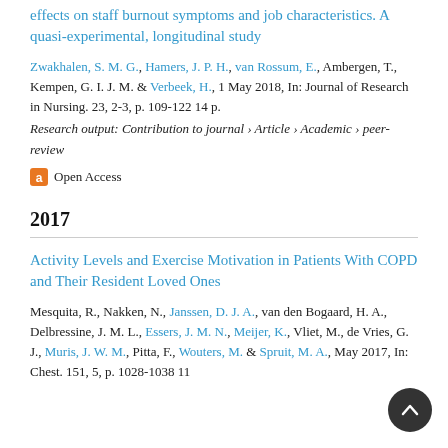effects on staff burnout symptoms and job characteristics. A quasi-experimental, longitudinal study
Zwakhalen, S. M. G., Hamers, J. P. H., van Rossum, E., Ambergen, T., Kempen, G. I. J. M. & Verbeek, H., 1 May 2018, In: Journal of Research in Nursing. 23, 2-3, p. 109-122 14 p.
Research output: Contribution to journal › Article › Academic › peer-review
Open Access
2017
Activity Levels and Exercise Motivation in Patients With COPD and Their Resident Loved Ones
Mesquita, R., Nakken, N., Janssen, D. J. A., van den Bogaard, H. A., Delbressine, J. M. L., Essers, J. M. N., Meijer, K., Vliet, M., de Vries, G. J., Muris, J. W. M., Pitta, F., Wouters, M. & Spruit, M. A., May 2017, In: Chest. 151, 5, p. 1028-1038 11